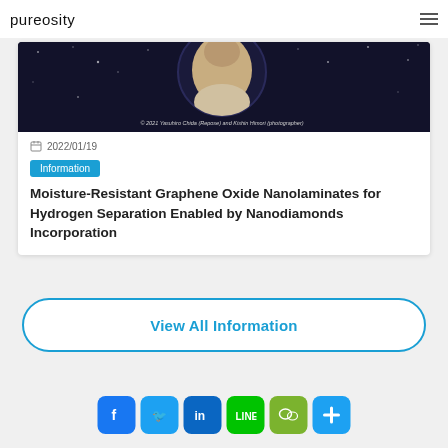pureosity
[Figure (photo): Dark background with partial circular portrait photo and copyright text: © 2021 Yasuhiro Chida (Repose) and Kishin Himori (photographer)]
2022/01/19
Information
Moisture-Resistant Graphene Oxide Nanolaminates for Hydrogen Separation Enabled by Nanodiamonds Incorporation
View All Information